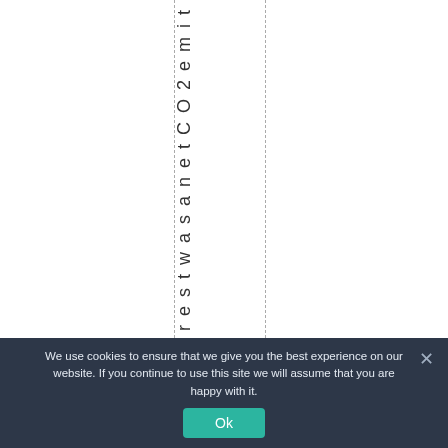rest was a net CO2 emit
We use cookies to ensure that we give you the best experience on our website. If you continue to use this site we will assume that you are happy with it. Ok